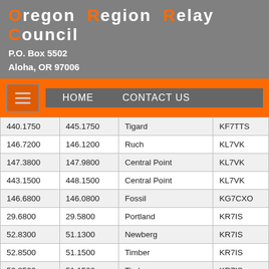Oregon Region Relay Council
P.O. Box 5502
Aloha, OR 97006
[Figure (other): Navigation bar with hamburger menu button and HOME / CONTACT US links]
|  |  | Location | Callsign |
| --- | --- | --- | --- |
| 440.1750 | 445.1750 | Tigard | KF7TTS |
| 146.7200 | 146.1200 | Ruch | KL7VK |
| 147.3800 | 147.9800 | Central Point | KL7VK |
| 443.1500 | 448.1500 | Central Point | KL7VK |
| 146.6800 | 146.0800 | Fossil | KG7CXO |
| 29.6800 | 29.5800 | Portland | KR7IS |
| 52.8300 | 51.1300 | Newberg | KR7IS |
| 52.8500 | 51.1500 | Timber | KR7IS |
| 52.8500 | 51.1500 | Timber | KR7IS |
| 52.9700 | 51.2700 | Timberline Lodge | WB7DZG |